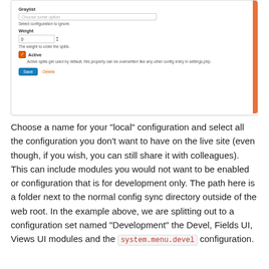[Figure (screenshot): A web form screenshot showing fields: Graylist (dropdown with 'Choose some option' placeholder, 'Select configuration to ignore' description), Weight (numeric input with value 0, 'The weight to order the splits' description), Active checkbox (checked, orange), with description text, Save button (blue) and Delete link (orange).]
Choose a name for your "local" configuration and select all the configuration you don't want to have on the live site (even though, if you wish, you can still share it with colleagues). This can include modules you would not want to be enabled or configuration that is for development only. The path here is a folder next to the normal config sync directory outside of the web root. In the example above, we are splitting out to a configuration set named "Development" the Devel, Fields UI, Views UI modules and the system.menu.devel configuration.